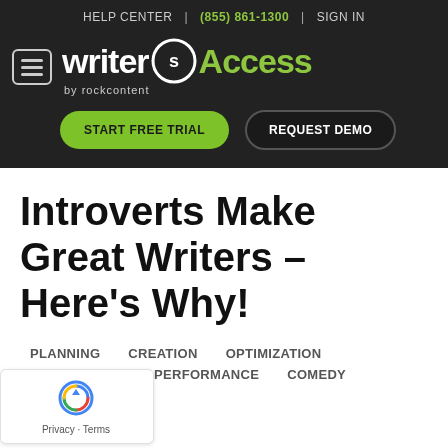HELP CENTER | (855) 861-1300 | SIGN IN
[Figure (logo): WriterAccess by rockcontent logo with hamburger menu icon]
[Figure (other): START FREE TRIAL and REQUEST DEMO buttons]
Introverts Make Great Writers – Here's Why!
PLANNING   CREATION   OPTIMIZATION   DISTRIBUTION   PERFORMANCE   COMEDY
[Figure (logo): reCAPTCHA Privacy - Terms badge]